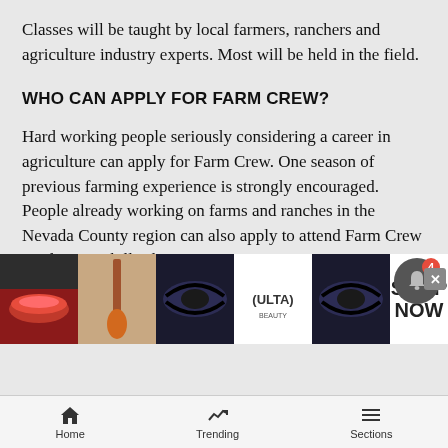Classes will be taught by local farmers, ranchers and agriculture industry experts. Most will be held in the field.
WHO CAN APPLY FOR FARM CREW?
Hard working people seriously considering a career in agriculture can apply for Farm Crew. One season of previous farming experience is strongly encouraged. People already working on farms and ranches in the Nevada County region can also apply to attend Farm Crew Production Skills classes.
To learn more and apply, visit the Sierra Harvest website at sierraharvest.org. Applications due March through...
[Figure (screenshot): Bottom advertisement bar showing beauty/makeup ad for ULTA with SHOP NOW button, notification bell icon with badge showing 4, and close button]
Home | Trending | Sections